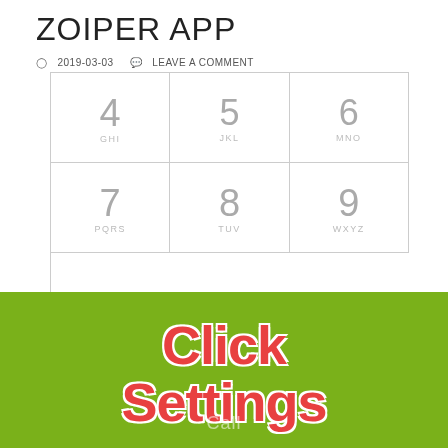ZOIPER APP
2019-03-03  LEAVE A COMMENT
[Figure (screenshot): Zoiper app dialpad showing rows 4/GHI, 5/JKL, 6/MNO; 7/PQRS, 8/TUV, 9/WXYZ; *, 0, # keys]
[Figure (infographic): Green overlay banner with red bold text reading 'Click Settings' with white text stroke, over the dialpad screenshot]